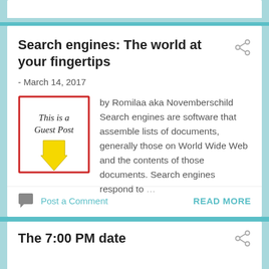Search engines: The world at your fingertips
- March 14, 2017
[Figure (illustration): Guest post badge: box with red border containing text 'This is a Guest Post' with a yellow downward arrow]
by Romilaa aka Novemberschild Search engines are software that assemble lists of documents, generally those on World Wide Web and the contents of those documents. Search engines respond to …
Post a Comment
READ MORE
The 7:00 PM date